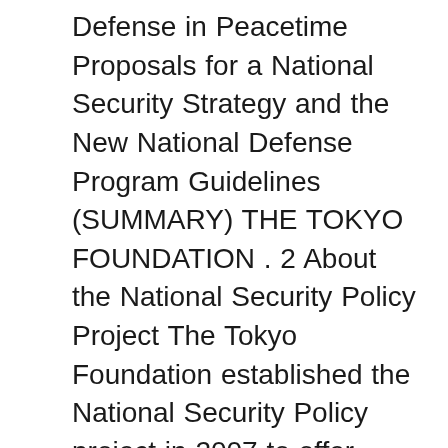Defense in Peacetime Proposals for a National Security Strategy and the New National Defense Program Guidelines (SUMMARY) THE TOKYO FOUNDATION . 2 About the National Security Policy Project The Tokyo Foundation established the National Security Policy project in 2007 to offer cogent proposals for security policy professionals in the light of a ... The National Security Strategy is a document prepared periodically by the executive branch of the government of the United States for Congress which outlines the major national security concerns of the United States and how the administration plans to deal with them.